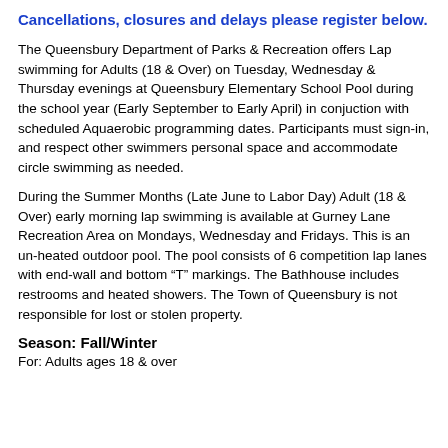Cancellations, closures and delays please register below.
The Queensbury Department of Parks & Recreation offers Lap swimming for Adults (18 & Over) on Tuesday, Wednesday & Thursday evenings at Queensbury Elementary School Pool during the school year (Early September to Early April) in conjuction with scheduled Aquaerobic programming dates. Participants must sign-in, and respect other swimmers personal space and accommodate circle swimming as needed.
During the Summer Months (Late June to Labor Day) Adult (18 & Over) early morning lap swimming is available at Gurney Lane Recreation Area on Mondays, Wednesday and Fridays. This is an un-heated outdoor pool. The pool consists of 6 competition lap lanes with end-wall and bottom “T” markings. The Bathhouse includes restrooms and heated showers. The Town of Queensbury is not responsible for lost or stolen property.
Season: Fall/Winter
For: Adults ages 18 & over